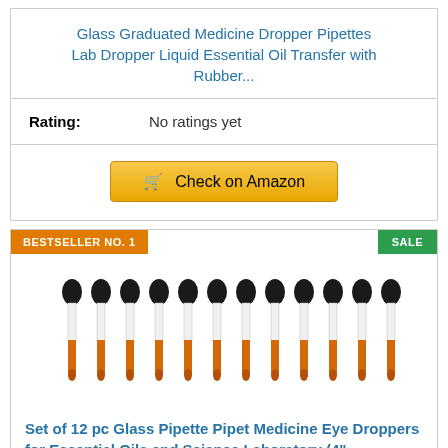Glass Graduated Medicine Dropper Pipettes Lab Dropper Liquid Essential Oil Transfer with Rubber...
Rating: No ratings yet
Check on Amazon
BESTSELLER NO. 1
SALE
[Figure (photo): Set of 12 glass pipette droppers with black rubber tops and orange glass bodies arranged in a row]
Set of 12 pc Glass Pipette Pipet Medicine Eye Droppers for Essential Oils and Science Laboratory (4"...